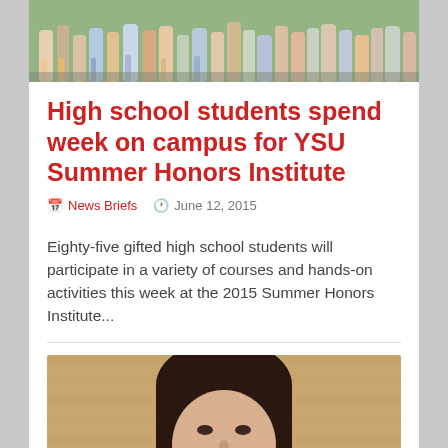[Figure (photo): Top portion of a group photo showing high school students standing outside on a sunny day]
High school students spend week on campus for YSU Summer Honors Institute
News Briefs   June 12, 2015
Eighty-five gifted high school students will participate in a variety of courses and hands-on activities this week at the 2015 Summer Honors Institute...
[Figure (photo): Portrait photo of a young woman with dark hair against a tan brick wall background]